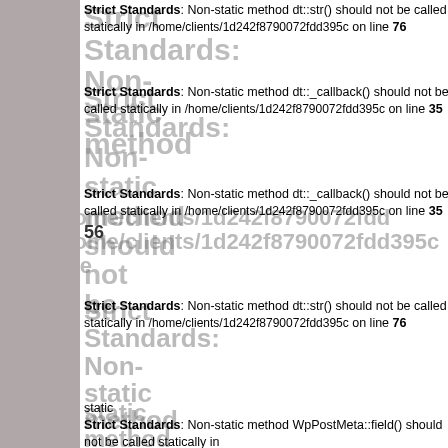Strict Standards: Non-static method dt::str() should not be called statically in /home/clients/1d242f8790072fdd395c on line 76
Strict Standards: Non-static method dt::_callback() should not be called statically in /home/clients/1d242f8790072fdd395c on line 35
Strict Standards: Non-static method dt::_callback() should not be called statically in /home/clients/1d242f8790072fdd395c on line 35 56
Strict Standards: Non-static method dt::str() should not be called statically in /home/clients/1d242f8790072fdd395c on line 76
Strict Standards: Non-static method WpPostMeta::field() should not be called statically in